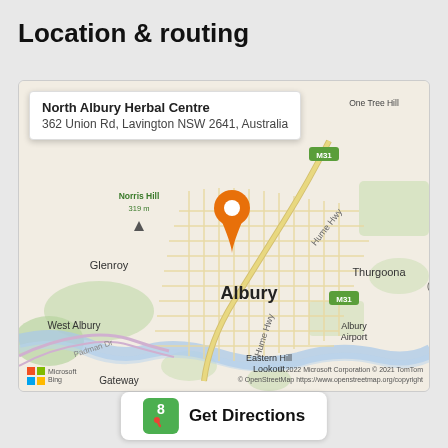Location & routing
[Figure (map): Map showing North Albury Herbal Centre at 362 Union Rd, Lavington NSW 2641, Australia. Map centered on Albury area showing Glenroy, West Albury, Thurgoona, Albury Airport, Eastern Hill Lookout, Gateway, Norris Hill 319m, One Tree Hill, Hume Hwy, M31, Padman Dr. Orange location pin marker visible. Microsoft Bing map with OpenStreetMap attribution.]
North Albury Herbal Centre
362 Union Rd, Lavington NSW 2641, Australia
© 2022 Microsoft Corporation © 2021 TomTom
© OpenStreetMap https://www.openstreetmap.org/copyright
Get Directions